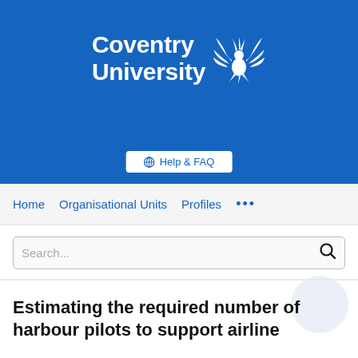[Figure (logo): Coventry University logo with phoenix bird on blue background]
Help & FAQ
Home   Organisational Units   Profiles   ...
Search...
Estimating the required number of harbour pilots to support airline